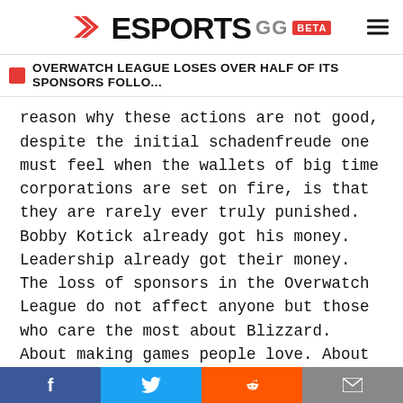ESPORTS GG BETA
OVERWATCH LEAGUE LOSES OVER HALF OF ITS SPONSORS FOLLO...
reason why these actions are not good, despite the initial schadenfreude one must feel when the wallets of big time corporations are set on fire, is that they are rarely ever truly punished. Bobby Kotick already got his money. Leadership already got their money. The loss of sponsors in the Overwatch League do not affect anyone but those who care the most about Blizzard. About making games people love. About creating stories, worlds, characters, and personalities that change people's lives.

It affects the players that fans admire for their
f  Twitter  Reddit  Email